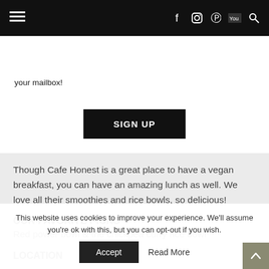Navigation bar with hamburger menu and social icons (Facebook, Instagram, Pinterest, YouTube, Search)
your mailbox!
SIGN UP
Though Cafe Honest is a great place to have a vegan breakfast, you can have an amazing lunch as well. We love all their smoothies and rice bowls, so delicious!
OUR FAVORITE PICKS
Red power bowl & the chickpea curry rice bowl
LOCATION
This website uses cookies to improve your experience. We'll assume you're ok with this, but you can opt-out if you wish.
Accept
Read More